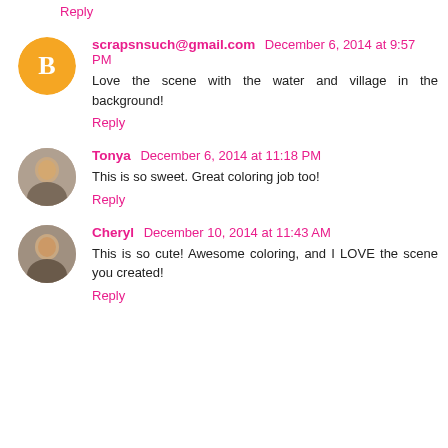Reply
scrapsnsuch@gmail.com  December 6, 2014 at 9:57 PM
Love the scene with the water and village in the background!
Reply
Tonya  December 6, 2014 at 11:18 PM
This is so sweet. Great coloring job too!
Reply
Cheryl  December 10, 2014 at 11:43 AM
This is so cute! Awesome coloring, and I LOVE the scene you created!
Reply